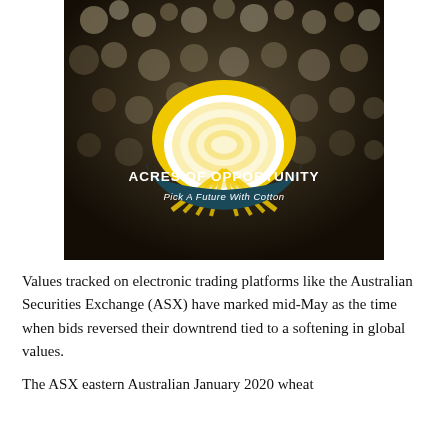[Figure (photo): Aerial/close-up photo of cotton plants in a field (black and white/sepia toned). Overlaid in the center is a logo: a dome/mushroom-shaped badge with yellow and white colors. The badge reads 'ACRES OF OPPORTUNITY' in bold white text on a dark teal/navy arc banner, and below it 'Pick A Future With Cotton' in white italic text.]
Values tracked on electronic trading platforms like the Australian Securities Exchange (ASX) have marked mid-May as the time when bids reversed their downtrend tied to a softening in global values.
The ASX eastern Australian January 2020 wheat